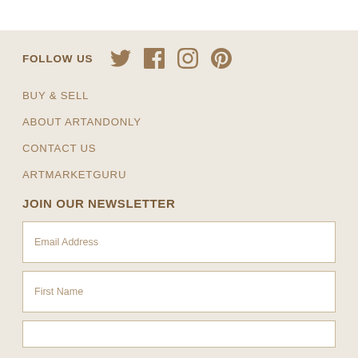FOLLOW US
BUY & SELL
ABOUT ARTANDONLY
CONTACT US
ARTMARKETGURU
JOIN OUR NEWSLETTER
Email Address
First Name